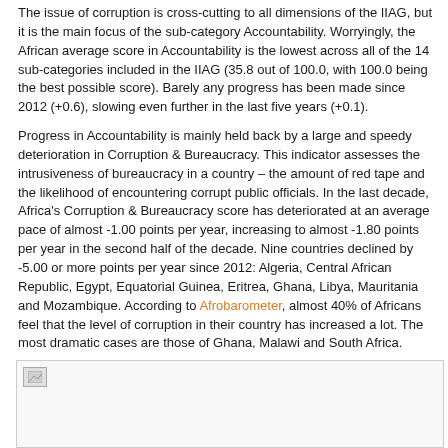The issue of corruption is cross-cutting to all dimensions of the IIAG, but it is the main focus of the sub-category Accountability. Worryingly, the African average score in Accountability is the lowest across all of the 14 sub-categories included in the IIAG (35.8 out of 100.0, with 100.0 being the best possible score). Barely any progress has been made since 2012 (+0.6), slowing even further in the last five years (+0.1).
Progress in Accountability is mainly held back by a large and speedy deterioration in Corruption & Bureaucracy. This indicator assesses the intrusiveness of bureaucracy in a country – the amount of red tape and the likelihood of encountering corrupt public officials. In the last decade, Africa's Corruption & Bureaucracy score has deteriorated at an average pace of almost -1.00 points per year, increasing to almost -1.80 points per year in the second half of the decade. Nine countries declined by -5.00 or more points per year since 2012: Algeria, Central African Republic, Egypt, Equatorial Guinea, Eritrea, Ghana, Libya, Mauritania and Mozambique. According to Afrobarometer, almost 40% of Africans feel that the level of corruption in their country has increased a lot. The most dramatic cases are those of Ghana, Malawi and South Africa.
[Figure (other): Partially visible image/chart at bottom of page, content not fully shown.]